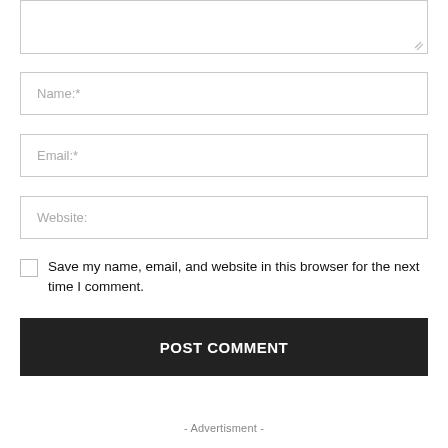[Figure (screenshot): Comment form textarea (partially visible at top)]
Name:*
Email:*
Website:
Save my name, email, and website in this browser for the next time I comment.
POST COMMENT
- Advertisment -